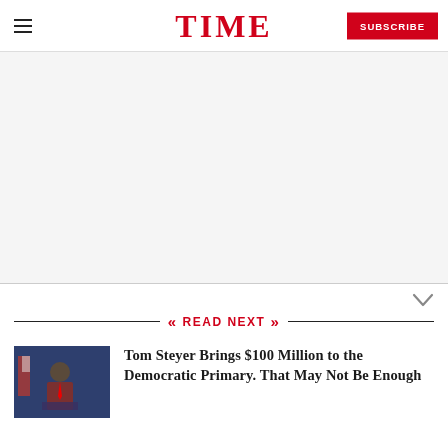TIME
[Figure (other): Advertisement placeholder area (blank white/gray box)]
READ NEXT
[Figure (photo): Thumbnail photo of Tom Steyer speaking at a podium with American flags in the background]
Tom Steyer Brings $100 Million to the Democratic Primary. That May Not Be Enough